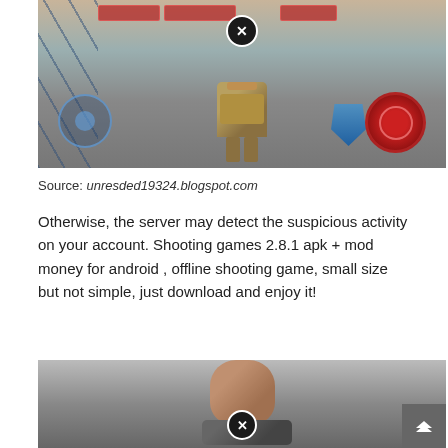[Figure (screenshot): Mobile game screenshot showing a third-person shooter with a robot character in the center, joystick controls on the left, fire button on the right, and a close/X button at the top center. Red HUD elements visible at the top.]
Source: unresded19324.blogspot.com
Otherwise, the server may detect the suspicious activity on your account. Shooting games 2.8.1 apk + mod money for android , offline shooting game, small size but not simple, just download and enjoy it!
[Figure (screenshot): Mobile game screenshot showing a bald armored character (soldier) from the front, partially cropped at the bottom. A close/X button overlaid in the center bottom area.]